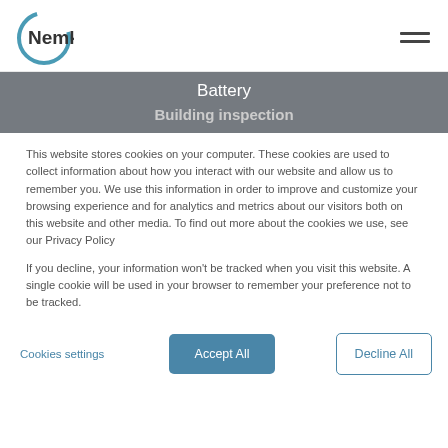[Figure (logo): Nemko logo: circular arc in teal/blue on the left, bold text 'Nemko' in dark gray]
Battery
Building inspection
This website stores cookies on your computer. These cookies are used to collect information about how you interact with our website and allow us to remember you. We use this information in order to improve and customize your browsing experience and for analytics and metrics about our visitors both on this website and other media. To find out more about the cookies we use, see our Privacy Policy
If you decline, your information won't be tracked when you visit this website. A single cookie will be used in your browser to remember your preference not to be tracked.
Cookies settings
Accept All
Decline All